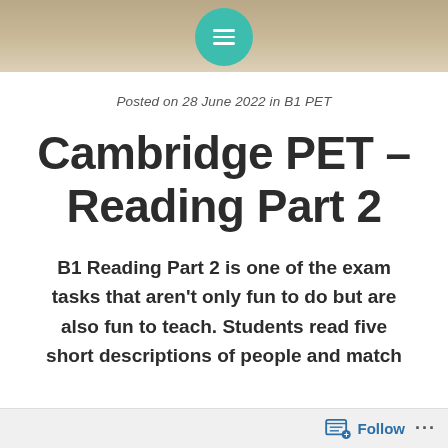[Figure (other): Website header with wood texture background and a teal circular menu icon at top center]
Posted on 28 June 2022 in B1 PET
Cambridge PET – Reading Part 2
B1 Reading Part 2 is one of the exam tasks that aren't only fun to do but are also fun to teach. Students read five short descriptions of people and match
Follow ...